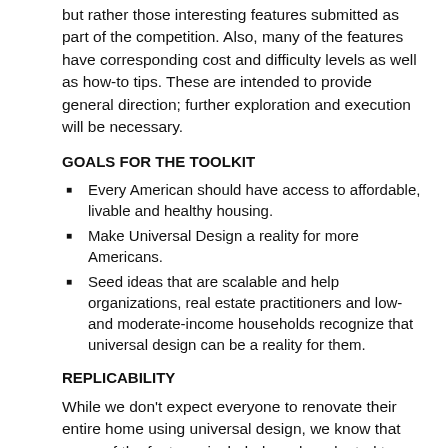but rather those interesting features submitted as part of the competition. Also, many of the features have corresponding cost and difficulty levels as well as how-to tips. These are intended to provide general direction; further exploration and execution will be necessary.
GOALS FOR THE TOOLKIT
Every American should have access to affordable, livable and healthy housing.
Make Universal Design a reality for more Americans.
Seed ideas that are scalable and help organizations, real estate practitioners and low- and moderate-income households recognize that universal design can be a reality for them.
REPLICABILITY
While we don't expect everyone to renovate their entire home using universal design, we know that many of the features included can be adapted to many different renovation projects. Homeowners may be interested in a graded yard, step-free routes to the deck, an outdoor deck that is the same level as the first floor, entrance weather protection, door hardware, interior doors, short and wide hallways, convenient laundry, curbless